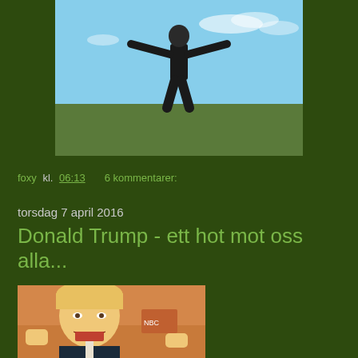[Figure (photo): Person standing with arms outstretched against a blue sky background]
foxy kl. 06:13    6 kommentarer:
torsdag 7 april 2016
Donald Trump - ett hot mot oss alla...
[Figure (photo): Donald Trump speaking or gesturing, photographed at an event with NBC logo visible]